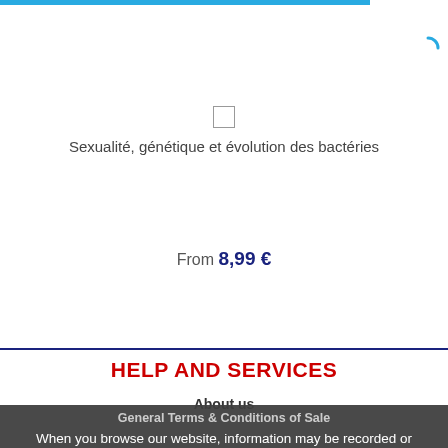[Figure (screenshot): Blue loading progress bar at top of page]
[Figure (screenshot): Blue spinner icon at top right corner]
[Figure (screenshot): Small square product thumbnail icon]
Sexualité, génétique et évolution des bactéries
From 8,99 €
HELP AND SERVICES
About us
General Terms & Conditions of Sale
Protection of your personal data – GRPD
When you browse our website, information may be recorded or played back in your terminal to optimize your experience.
Users guide
Website security